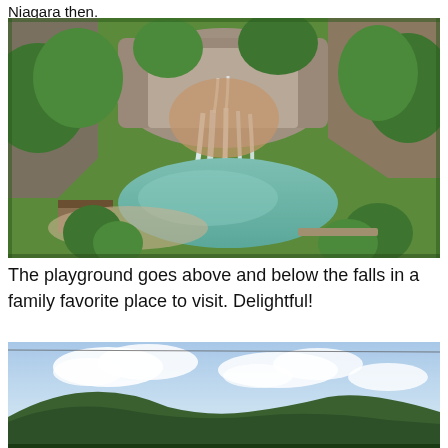Niagara then.
[Figure (photo): Aerial view of a waterfall cascading down rocky cliffs into a round turquoise pool, surrounded by dense green trees. A wooden structure and sandy paths are visible near the water.]
The playground goes above and below the falls in a family favorite place to visit. Delightful!
[Figure (photo): Landscape photo showing rolling green forested hills under a partly cloudy blue sky, with a utility line visible near the top.]